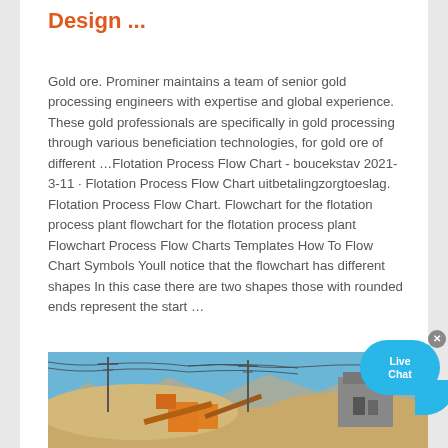Design ...
Gold ore. Prominer maintains a team of senior gold processing engineers with expertise and global experience. These gold professionals are specifically in gold processing through various beneficiation technologies, for gold ore of different …Flotation Process Flow Chart - boucekstav 2021-3-11 · Flotation Process Flow Chart uitbetalingzorgtoeslag. Flotation Process Flow Chart. Flowchart for the flotation process plant flowchart for the flotation process plant Flowchart Process Flow Charts Templates How To Flow Chart Symbols Youll notice that the flowchart has different shapes In this case there are two shapes those with rounded ends represent the start …
[Figure (photo): Outdoor mining/crushing plant with orange machinery, conveyor belts, large mounds of earth/sand, power lines, and buildings against a blue sky with mountains in background.]